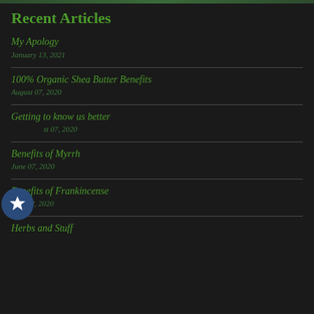Recent Articles
My Apology
January 13, 2021
100% Organic Shea Butter Benefits
August 07, 2020
Getting to know us better
August 07, 2020
Benefits of Myrrh
June 07, 2020
Benefits of Frankincense
May 22, 2020
Herbs and Stuff